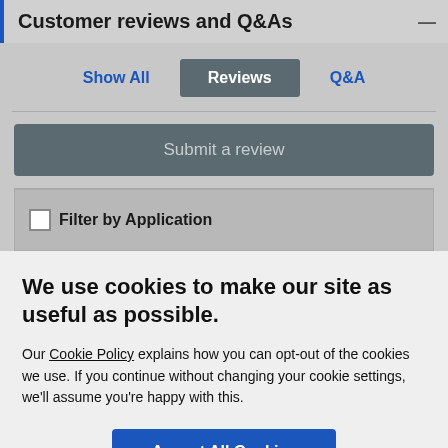Customer reviews and Q&As
Show All | Reviews | Q&A
Submit a review
Filter by Application
We use cookies to make our site as useful as possible.
Our Cookie Policy explains how you can opt-out of the cookies we use. If you continue without changing your cookie settings, we'll assume you're happy with this.
Accept All Cookies